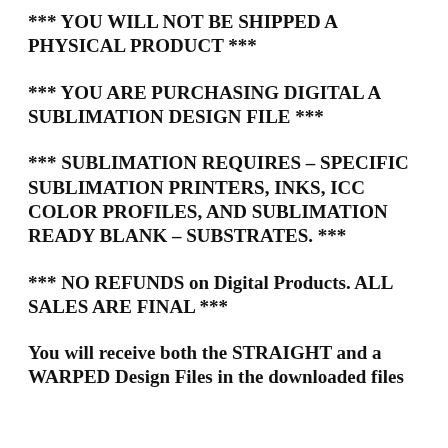*** YOU WILL NOT BE SHIPPED A PHYSICAL PRODUCT ***
*** YOU ARE PURCHASING DIGITAL A SUBLIMATION DESIGN FILE ***
*** SUBLIMATION REQUIRES – SPECIFIC SUBLIMATION PRINTERS, INKS, ICC COLOR PROFILES, AND SUBLIMATION READY BLANK – SUBSTRATES. ***
*** NO REFUNDS on Digital Products. ALL SALES ARE FINAL ***
You will receive both the STRAIGHT and a WARPED Design Files in the downloaded files